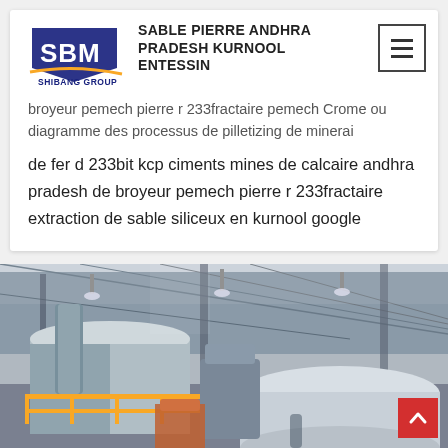SBM SHIBANG GROUP
SABLE PIERRE ANDHRA PRADESH KURNOOL ENTESSIN
broyeur pemech pierre r 233fractaire pemech Crome ou diagramme des processus de pilletizing de minerai de fer d 233bit kcp ciments mines de calcaire andhra pradesh de broyeur pemech pierre r 233fractaire extraction de sable siliceux en kurnool google
[Figure (photo): Industrial factory interior with heavy mining/crushing machinery, yellow railings, large cylindrical equipment, and a steel truss roof with skylights.]